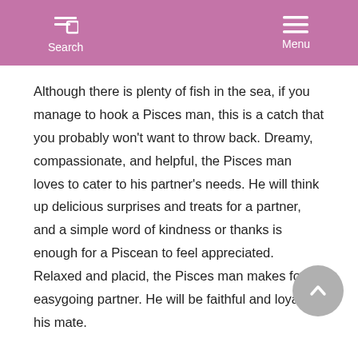Search  Menu
Although there is plenty of fish in the sea, if you manage to hook a Pisces man, this is a catch that you probably won't want to throw back. Dreamy, compassionate, and helpful, the Pisces man loves to cater to his partner's needs. He will think up delicious surprises and treats for a partner, and a simple word of kindness or thanks is enough for a Piscean to feel appreciated. Relaxed and placid, the Pisces man makes for an easygoing partner. He will be faithful and loyal to his mate.
The quiet and unassuming Pisces man is a flash flood of passion in the bedroom. He loves fantasy and role-playing. Naturally an enjoist between the sheets, and his appetite...